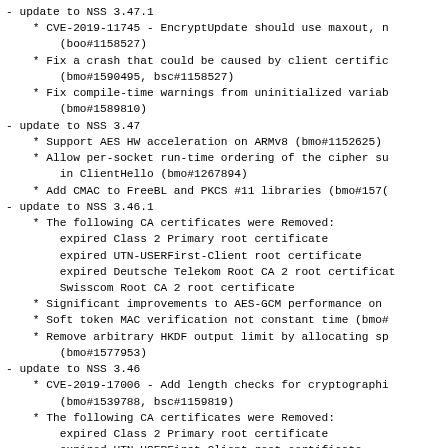- update to NSS 3.47.1
* CVE-2019-11745 - EncryptUpdate should use maxout, n
        (boo#1158527)
* Fix a crash that could be caused by client certific
        (bmo#1590495, bsc#1158527)
* Fix compile-time warnings from uninitialized variab
        (bmo#1589810)
- update to NSS 3.47
* Support AES HW acceleration on ARMv8 (bmo#1152625)
* Allow per-socket run-time ordering of the cipher su
        in ClientHello (bmo#1267894)
* Add CMAC to FreeBL and PKCS #11 libraries (bmo#157(
- update to NSS 3.46.1
* The following CA certificates were Removed:
        expired Class 2 Primary root certificate
        expired UTN-USERFirst-Client root certificate
        expired Deutsche Telekom Root CA 2 root certificat
        Swisscom Root CA 2 root certificate
* Significant improvements to AES-GCM performance on
* Soft token MAC verification not constant time (bmo#
* Remove arbitrary HKDF output limit by allocating sp
        (bmo#1577953)
- update to NSS 3.46
* CVE-2019-17006 - Add length checks for cryptographi
        (bmo#1539788, bsc#1159819)
* The following CA certificates were Removed:
        expired Class 2 Primary root certificate
        expired UTN-USERFirst-Client root certificate
        expired Deutsche Telekom Root CA 2 root certificat
        Swisscom Root CA 2 root certificate